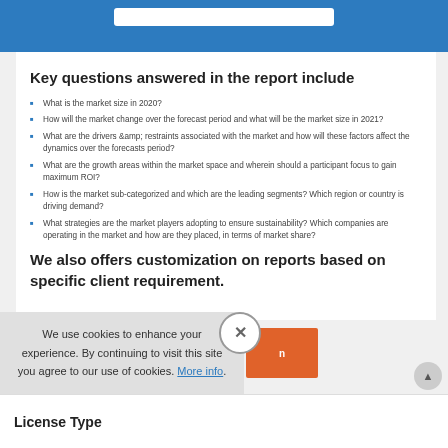Key questions answered in the report include
What is the market size in 2020?
How will the market change over the forecast period and what will be the market size in 2021?
What are the drivers &amp; restraints associated with the market and how will these factors affect the dynamics over the forecasts period?
What are the growth areas within the market space and wherein should a participant focus to gain maximum ROI?
How is the market sub-categorized and which are the leading segments? Which region or country is driving demand?
What strategies are the market players adopting to ensure sustainability? Which companies are operating in the market and how are they placed, in terms of market share?
We also offers customization on reports based on specific client requirement.
We use cookies to enhance your experience. By continuing to visit this site you agree to our use of cookies. More info.
License Type